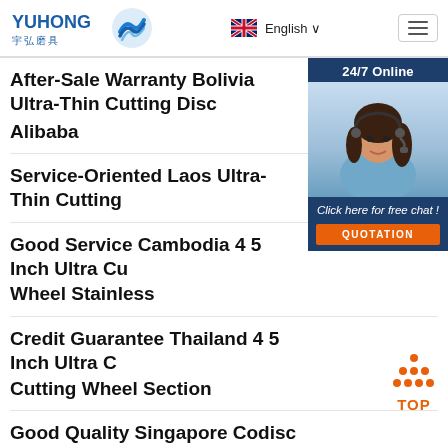YUHONG 宇弘磨具 | English
After-Sale Warranty Bolivia Ultra-Thin Cutting Disc Alibaba
Service-Oriented Laos Ultra-Thin Cutting
Good Service Cambodia 4 5 Inch Ultra Cutting Wheel Stainless
Credit Guarantee Thailand 4 5 Inch Ultra Cutting Wheel Section
Good Quality Singapore Codisc Chrome
Complete Specifications Suriname 4 5 Inch Stainless Steel Cutting Disc Miniature
[Figure (screenshot): Customer service chat widget with '24/7 Online' header, agent photo, 'Click here for free chat!' text, and orange QUOTATION button]
[Figure (other): Orange TOP navigation button with upward arrow dots icon]